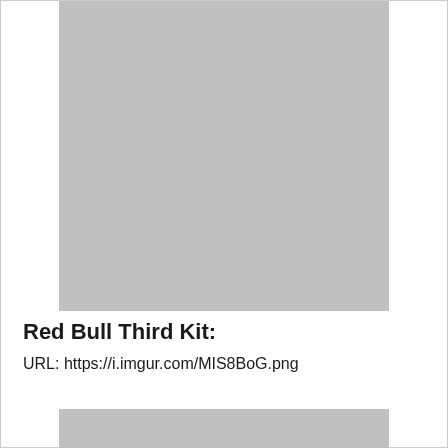[Figure (photo): Gray placeholder image block at top of page]
Red Bull Third Kit:
URL: https://i.imgur.com/MIS8BoG.png
[Figure (photo): Gray placeholder image block at bottom of page (partially visible)]